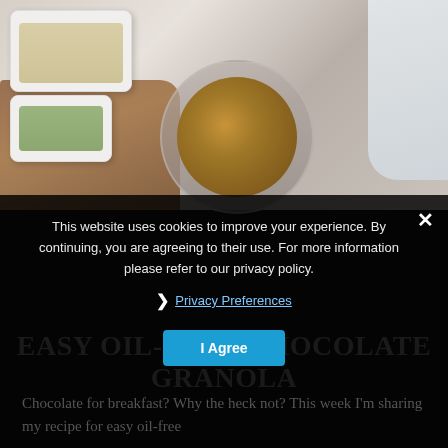[Figure (photo): Overhead food photography showing granola ingredients: white rectangular bowls with rolled oats and green seeds on a wooden cutting board, a glass bowl filled with chocolate granola, all on a marble surface with a light blue-grey napkin visible in the top right corner.]
This website uses cookies to improve your experience. By continuing, you are agreeing to their use. For more information please refer to our privacy policy.
❯  Privacy Preferences
I Agree
EASY OIL-FREE CHOCOLATE GRANOLA
Chocolate for breakfast? Why the heck not? This week I'm sharing my recipe for easy oil-free